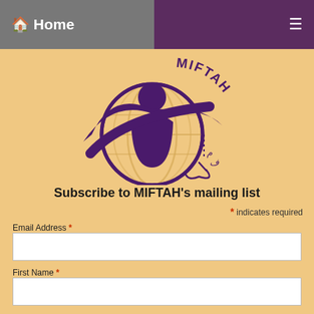🏠 Home
[Figure (logo): MIFTAH organization logo: purple figure of a person in front of a globe with MIFTAH text and Arabic script]
Subscribe to MIFTAH's mailing list
* indicates required
Email Address *
First Name *
Last Name *